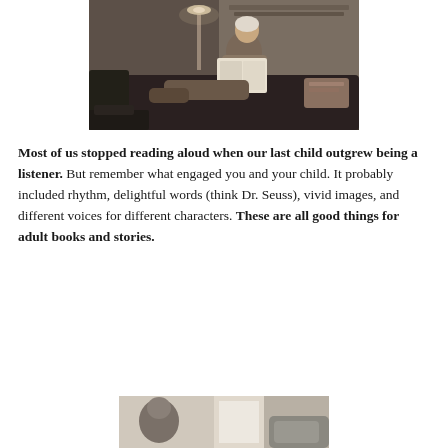[Figure (photo): Black and white photo of a person sitting on a couch reading, with a lamp and shelves in background]
Most of us stopped reading aloud when our last child outgrew being a listener. But remember what engaged you and your child. It probably included rhythm, delightful words (think Dr. Seuss), vivid images, and different voices for different characters. These are all good things for adult books and stories.
[Figure (photo): Black and white photo partially visible at bottom of page, appears to show a person]